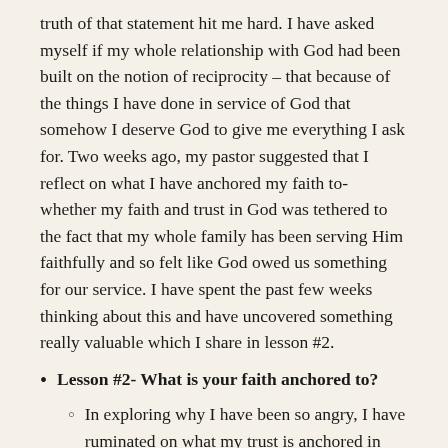truth of that statement hit me hard. I have asked myself if my whole relationship with God had been built on the notion of reciprocity – that because of the things I have done in service of God that somehow I deserve God to give me everything I ask for. Two weeks ago, my pastor suggested that I reflect on what I have anchored my faith to- whether my faith and trust in God was tethered to the fact that my whole family has been serving Him faithfully and so felt like God owed us something for our service. I have spent the past few weeks thinking about this and have uncovered something really valuable which I share in lesson #2.
Lesson #2- What is your faith anchored to?
In exploring why I have been so angry, I have ruminated on what my trust is anchored in and